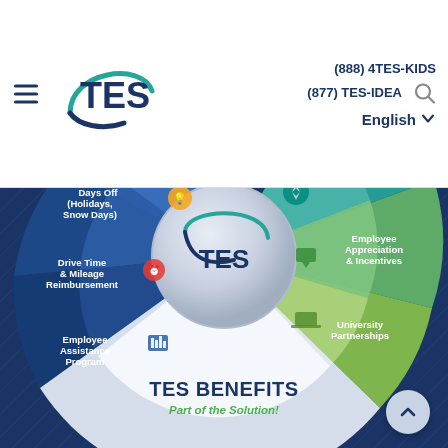(888) 4TES-KIDS | (877) TES-IDEA | English
[Figure (infographic): TES Benefits wheel/donut infographic showing benefit categories: Days Off (Holidays, Snow Days), Drive Time & Mileage Reimbursement, Employee Assistance Program (blue sections on left), Employee Appreciation & Incentives, University Partnerships (green sections on right), with TES logo in center circle. Bottom white section reads 'TES BENEFITS - Part of the Solution!']